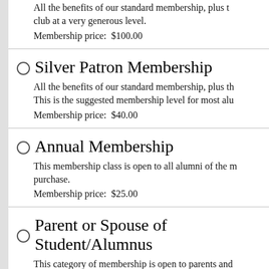All the benefits of our standard membership, plus the club at a very generous level.
Membership price:  $100.00
Silver Patron Membership
All the benefits of our standard membership, plus th This is the suggested membership level for most alu
Membership price:  $40.00
Annual Membership
This membership class is open to all alumni of the purchase.
Membership price:  $25.00
Parent or Spouse of Student/Alumnus
This category of membership is open to parents and alumni activities for Columbia University.
Membership price:  $25.00